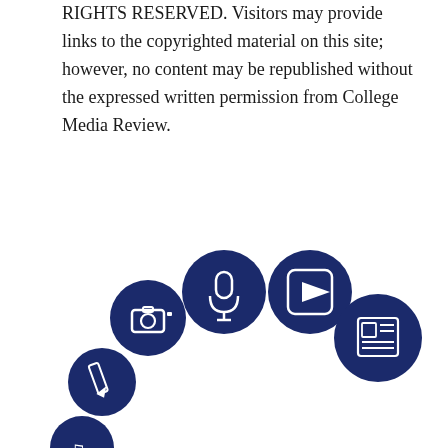RIGHTS RESERVED. Visitors may provide links to the copyrighted material on this site; however, no content may be republished without the expressed written permission from College Media Review.
[Figure (logo): College Media Association (CMA) logo featuring dark navy blue circular icons (microphone, video play button, camera, newspaper, pencil, music notes, TV, magnifying glass) arranged around large bold 'CMA' text, with 'COLLEGE MEDIA ASSOCIATION' text below.]